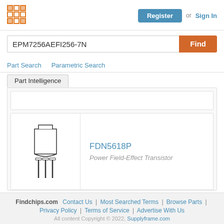[Figure (logo): Orange grid/mosaic logo icon for Findchips.com]
Register   or   Sign In
EPM7256AEFI256-7N
Find
Part Search   Parametric Search
Part Intelligence
[Figure (illustration): Electronic component TO-252 transistor package drawing in outline style]
FDN5618P
Power Field-Effect Transistor
Findchips.com  Contact Us  |  Most Searched Terms  |  Browse Parts  |  Privacy Policy  |  Terms of Service  |  Advertise With Us  All content Copyright © 2022,  Supplyframe.com